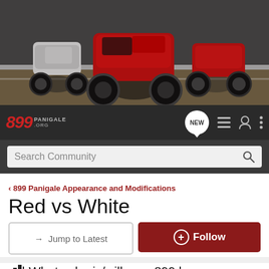[Figure (photo): Banner image showing three Ducati motorcycles on a race track - white Panigale on left, large red Panigale in center, red Panigale on right. Dark/moody background.]
[Figure (logo): 899 Panigale.org forum logo in red italic text with grey subtitle text on dark navbar background]
NEW
Search Community
899 Panigale Appearance and Modifications
Red vs White
→ Jump to Latest
+ Follow
What color is/will your 899 be